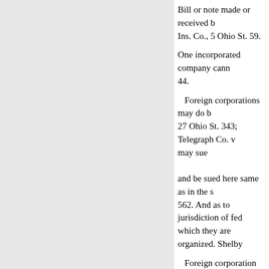Bill or note made or received by Ins. Co., 5 Ohio St. 59.
One incorporated company cannot 44.
Foreign corporations may do b 27 Ohio St. 343; Telegraph Co. v may sue and be sued here same as in the s 562. And as to jurisdiction of fed which they are organized. Shelby
Foreign corporation may take Am. Bible Soc. v. Marshall, 15 O
Foreign corporation may be ou contravention of the laws of this Ohio St. 440.
Where a corporation organized no profits, issued certificates of " per cent:" Held, that an action fo only property of the corporation Ohio St. 183.